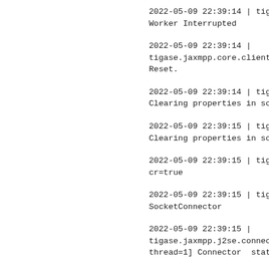2022-05-09 22:39:14 | tigase.jaxmp
Worker Interrupted
2022-05-09 22:39:14 |
tigase.jaxmpp.core.client.xmpp.moc
Reset.
2022-05-09 22:39:14 | tigase.jaxmp
Clearing properties in scopes [ses
2022-05-09 22:39:15 | tigase.jaxmp
Clearing properties in scopes [str
2022-05-09 22:39:15 | tigase.jaxmp
cr=true
2022-05-09 22:39:15 | tigase.jaxmp
SocketConnector
2022-05-09 22:39:15 |
tigase.jaxmpp.j2se.connectors.sock
thread=1] Connector  state changed
2022-05-09 22:39:15 |
tigase.jaxmpp.j2se.connectors.sock
thread=1] DNS entry stored in sess